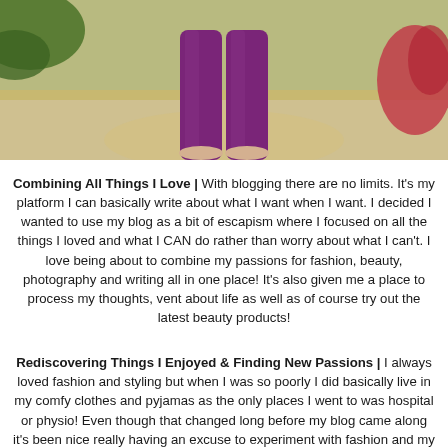[Figure (photo): Photo of person wearing purple wide-leg trousers and sandals, standing on a sandy path with greenery and flowers in background. Only lower body visible.]
Combining All Things I Love | With blogging there are no limits. It's my platform I can basically write about what I want when I want. I decided I wanted to use my blog as a bit of escapism where I focused on all the things I loved and what I CAN do rather than worry about what I can't. I love being about to combine my passions for fashion, beauty, photography and writing all in one place! It's also given me a place to process my thoughts, vent about life as well as of course try out the latest beauty products!
Rediscovering Things I Enjoyed & Finding New Passions | I always loved fashion and styling but when I was so poorly I did basically live in my comfy clothes and pyjamas as the only places I went to was hospital or physio! Even though that changed long before my blog came along it's been nice really having an excuse to experiment with fashion and my personal style and discovering